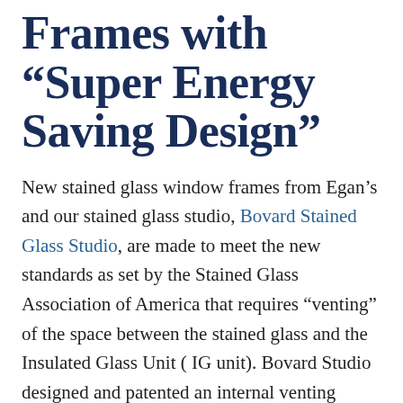Frames with “Super Energy Saving Design”
New stained glass window frames from Egan’s and our stained glass studio, Bovard Stained Glass Studio, are made to meet the new standards as set by the Stained Glass Association of America that requires “venting” of the space between the stained glass and the Insulated Glass Unit ( IG unit). Bovard Studio designed and patented an internal venting system that is the most energy efficient frame available in the US.